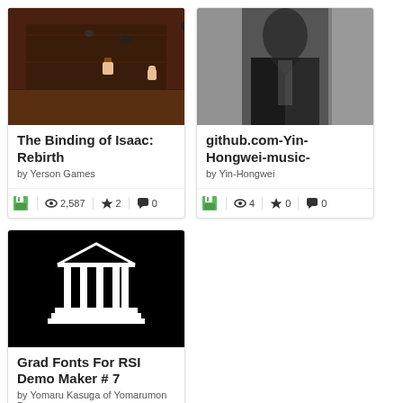[Figure (screenshot): The Binding of Isaac: Rebirth game screenshot showing dark dungeon scene with pixel art characters]
The Binding of Isaac: Rebirth
by Yerson Games
2,587 views, 2 stars, 0 comments
[Figure (photo): Black and white photo of a person in dark clothing]
github.com-Yin-Hongwei-music-
by Yin-Hongwei
4 views, 0 stars, 0 comments
[Figure (illustration): Black background with white classical building/pillars icon - library/institution logo]
Grad Fonts For RSI Demo Maker # 7
by Yomaru Kasuga of Yomarumon Dreams
20 views, 0 stars, 0 comments